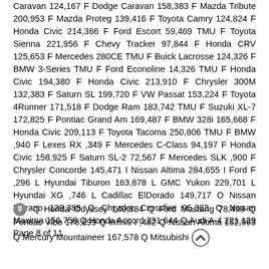Caravan 124,167 F Dodge Caravan 158,383 F Mazda Tribute 200,953 F Mazda Proteg 139,416 F Toyota Camry 124,824 F Honda Civic 214,366 F Ford Escort 59,469 TMU F Toyota Sienna 221,956 F Chevy Tracker 97,844 F Honda CRV 125,653 F Mercedes 280CE TMU F Buick Lacrosse 124,326 F BMW 3-Series TMU F Ford Econoline 14,326 TMU F Honda Civic 194,380 F Honda Civic 213,910 F Chrysler 300M 132,383 F Saturn SL 199,720 F VW Passat 153,224 F Toyota 4Runner 171,518 F Dodge Ram 183,742 TMU F Suzuki XL-7 172,825 F Pontiac Grand Am 169,487 F BMW 328i 165,668 F Honda Civic 209,113 F Toyota Tacoma 250,806 TMU F BMW ,940 F Lexes RX ,349 F Mercedes C-Class 94,197 F Honda Civic 158,925 F Saturn SL-2 72,567 F Mercedes SLK ,900 F Chrysler Concorde 145,471 I Nissan Altima 284,655 I Ford F ,296 L Hyundai Tiburon 163,878 L GMC Yukon 229,701 L Hyundai XG ,746 L Cadillac ElDorado 149,717 O Nissan Murano 139,388 O Chrysler Crossfire 95,383 Q Nissan Maxima 156,758 Q Honda Accord 231,644 Q Audi A-4 221,129 Page 8 of 11
9 Q Honda Odyssey 140,884 Q Ford Mustang 78,499 Q Pontiac Vibe 178,899 Q Infiniti I ,482 Q Nissan Altima 152,993 Q Mercury Mountaineer 167,578 Q Mitsubishi